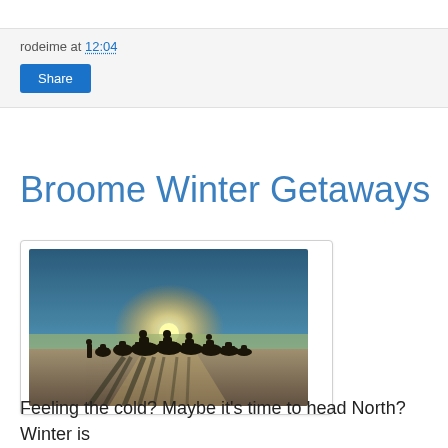rodeime at 12:04
[Figure (photo): Silhouette of camels and riders walking along a beach at sunset, with long shadows stretching forward and the bright sun on the horizon]
Broome Winter Getaways
Feeling the cold? Maybe it's time to head North? Winter is